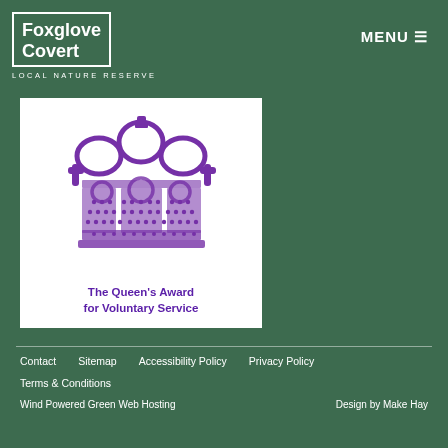[Figure (logo): Foxglove Covert Local Nature Reserve logo — white outlined box with stylized foxglove plant and text 'Foxglove Covert LOCAL NATURE RESERVE']
MENU ☰
[Figure (logo): The Queen's Award for Voluntary Service — purple crown image on white background with text 'The Queen's Award for Voluntary Service']
Contact   Sitemap   Accessibility Policy   Privacy Policy   Terms & Conditions   Wind Powered Green Web Hosting   Design by Make Hay